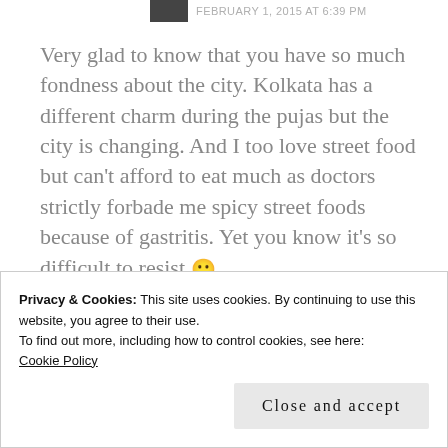FEBRUARY 1, 2015 AT 6:39 PM
Very glad to know that you have so much fondness about the city. Kolkata has a different charm during the pujas but the city is changing. And I too love street food but can't afford to eat much as doctors strictly forbade me spicy street foods because of gastritis. Yet you know it's so difficult to resist 🙂
Privacy & Cookies: This site uses cookies. By continuing to use this website, you agree to their use.
To find out more, including how to control cookies, see here:
Cookie Policy
Close and accept